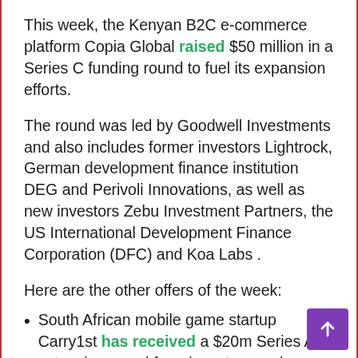This week, the Kenyan B2C e-commerce platform Copia Global raised $50 million in a Series C funding round to fuel its expansion efforts.
The round was led by Goodwell Investments and also includes former investors Lightrock, German development finance institution DEG and Perivoli Innovations, as well as new investors Zebu Investment Partners, the US International Development Finance Corporation (DFC) and Koa Labs .
Here are the other offers of the week:
South African mobile game startup Carry1st has received a $20m Series A extension round from investors such as Andreessen Horowitz, Avenir and Google to help it expand across Africa.